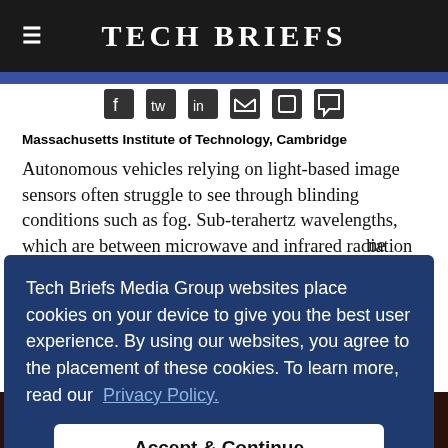Tech Briefs
Massachusetts Institute of Technology, Cambridge
Autonomous vehicles relying on light-based image sensors often struggle to see through blinding conditions such as fog. Sub-terahertz wavelengths, which are between microwave and infrared radiation on the electromagnetic spectrum, can be...
[Figure (screenshot): Cookie consent overlay on Tech Briefs website reading: 'Tech Briefs Media Group websites place cookies on your device to give you the best user experience. By using our websites, you agree to the placement of these cookies. To learn more, read our Privacy Policy.' with an 'Accept & Continue' button.]